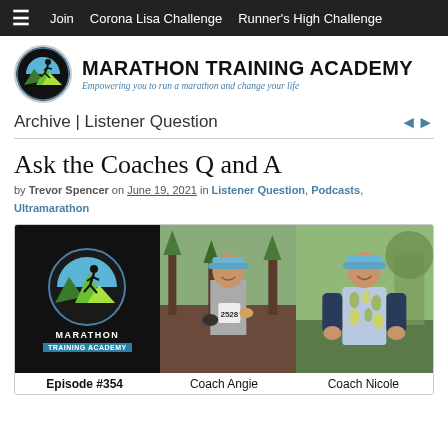≡  Join  Corona Lisa Challenge  Runner's High Challenge
[Figure (logo): Marathon Training Academy logo: circular icon with running figure silhouette over mountains, next to bold text 'MARATHON TRAINING ACADEMY' with italic tagline 'Empowering you to run a marathon and change your life']
Archive | Listener Question
Ask the Coaches Q and A
by Trevor Spencer on June 19, 2021 in Listener Question, Podcasts, Ultramarathon
[Figure (photo): Three-panel image: left panel shows Marathon Training Academy podcast logo (Episode #354) on black background; center panel shows Coach Angie wearing race bib #2528 and blue cap; right panel shows Coach Nicole wearing blue cap and patterned vest outdoor.]
Episode #354     Coach Angie     Coach Nicole